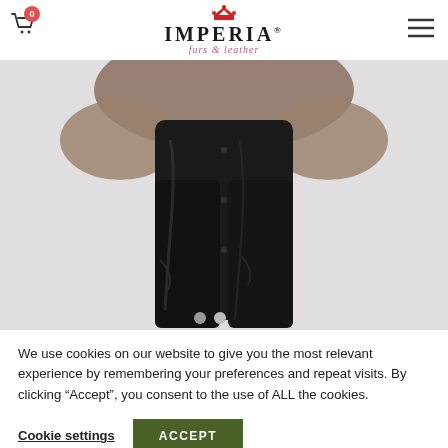IMPERIA furs & leather
[Figure (photo): Fashion model wearing shiny black leather/patent pants and a fur jacket, photographed from torso down against a light grey background. Two carousel dots visible at the bottom of the image.]
We use cookies on our website to give you the most relevant experience by remembering your preferences and repeat visits. By clicking “Accept”, you consent to the use of ALL the cookies.
Cookie settings   ACCEPT